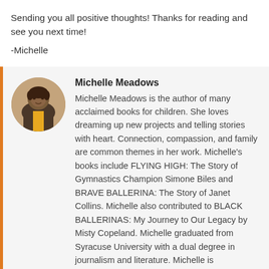Sending you all positive thoughts! Thanks for reading and see you next time!
-Michelle
Michelle Meadows
Michelle Meadows is the author of many acclaimed books for children. She loves dreaming up new projects and telling stories with heart. Connection, compassion, and family are common themes in her work. Michelle's books include FLYING HIGH: The Story of Gymnastics Champion Simone Biles and BRAVE BALLERINA: The Story of Janet Collins. Michelle also contributed to BLACK BALLERINAS: My Journey to Our Legacy by Misty Copeland. Michelle graduated from Syracuse University with a dual degree in journalism and literature. Michelle is represented by literary agent
[Figure (photo): Circular profile photo of Michelle Meadows, a smiling Black woman]